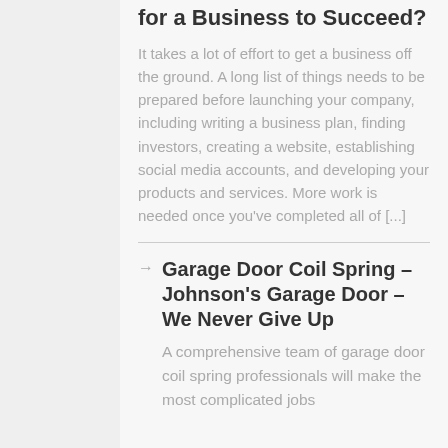for a Business to Succeed?
It takes a lot of effort to get a business off the ground. A long list of things needs to be prepared before launching your company, including writing a business plan, finding investors, creating a website, establishing social media accounts, and developing your products and services. More work is needed once you've completed all of [...]
Garage Door Coil Spring – Johnson's Garage Door – We Never Give Up
A comprehensive team of garage door coil spring professionals will make the most complicated jobs